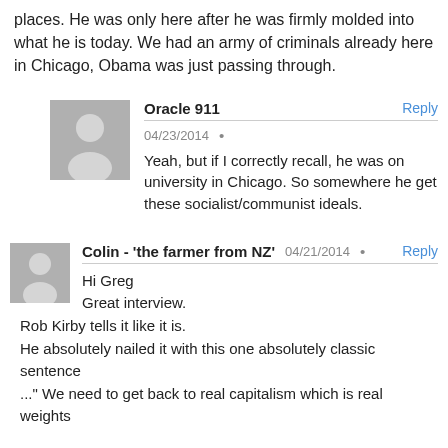places. He was only here after he was firmly molded into what he is today. We had an army of criminals already here in Chicago, Obama was just passing through.
Oracle 911
04/23/2014
Yeah, but if I correctly recall, he was on university in Chicago. So somewhere he get these socialist/communist ideals.
Colin - 'the farmer from NZ'
04/21/2014
Hi Greg
Great interview.
Rob Kirby tells it like it is.
He absolutely nailed it with this one absolutely classic sentence
..." We need to get back to real capitalism which is real weights